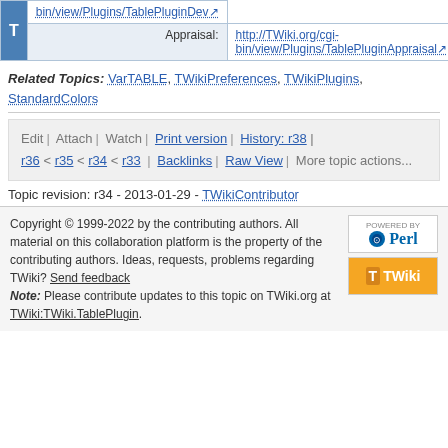|  | bin/view/Plugins/TablePluginDev↗ |
| Appraisal: | http://TWiki.org/cgi-bin/view/Plugins/TablePluginAppraisal↗ |
Related Topics: VarTABLE, TWikiPreferences, TWikiPlugins, StandardColors
Edit | Attach | Watch | Print version | History: r38 | r36 < r35 < r34 < r33 | Backlinks | Raw View | More topic actions...
Topic revision: r34 - 2013-01-29 - TWikiContributor
Copyright © 1999-2022 by the contributing authors. All material on this collaboration platform is the property of the contributing authors. Ideas, requests, problems regarding TWiki? Send feedback Note: Please contribute updates to this topic on TWiki.org at TWiki:TWiki.TablePlugin.